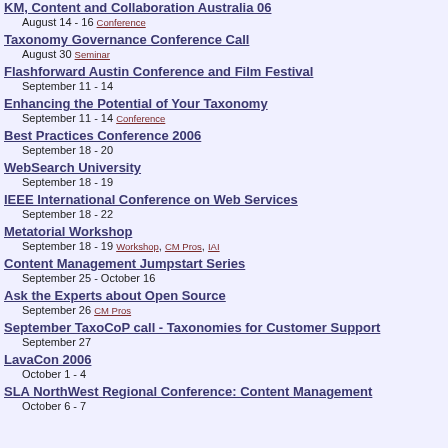KM, Content and Collaboration Australia 06 — August 14 - 16 Conference
Taxonomy Governance Conference Call — August 30 Seminar
Flashforward Austin Conference and Film Festival — September 11 - 14
Enhancing the Potential of Your Taxonomy — September 11 - 14 Conference
Best Practices Conference 2006 — September 18 - 20
WebSearch University — September 18 - 19
IEEE International Conference on Web Services — September 18 - 22
Metatorial Workshop — September 18 - 19 Workshop, CM Pros, IAI
Content Management Jumpstart Series — September 25 - October 16
Ask the Experts about Open Source — September 26 CM Pros
September TaxoCoP call - Taxonomies for Customer Support — September 27
LavaCon 2006 — October 1 - 4
SLA NorthWest Regional Conference: Content Management — October 6 - 7